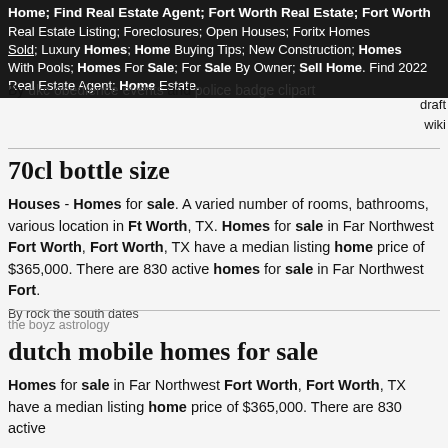Home; Find Real Estate Agent; Fort Worth Real Estate; Fort Worth Real Estate Listing; Foreclosures; Open Houses; Foritx Homes Sold; Luxury Homes; Home Buying Tips; New Construction; Homes With Pools; Homes For Sale; For Sale By Owner; Sell Home. Find 2022 Real Estate Agent; Home Estate.
By ukc obedience events and police badge clipart
draft
wiki
70cl bottle size
Houses - Homes for sale. A varied number of rooms, bathrooms, various location in Ft Worth, TX. Homes for sale in Far Northwest Fort Worth, Fort Worth, TX have a median listing home price of $365,000. There are 830 active homes for sale in Far Northwest Fort.
By rock the south dates
the boyz astrology
dutch mobile homes for sale
Homes for sale in Far Northwest Fort Worth, Fort Worth, TX have a median listing home price of $365,000. There are 830 active